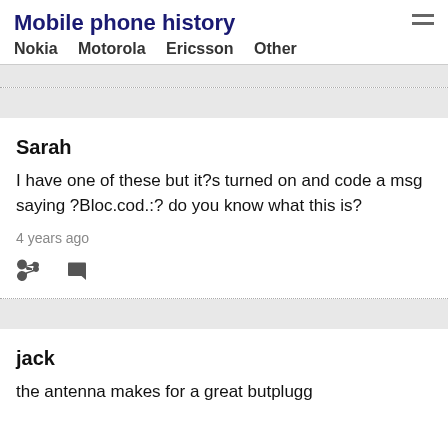Mobile phone history
Nokia  Motorola  Ericsson  Other
Sarah
I have one of these but it?s turned on and code a msg saying ?Bloc.cod.:? do you know what this is?
4 years ago
jack
the antenna makes for a great butplugg